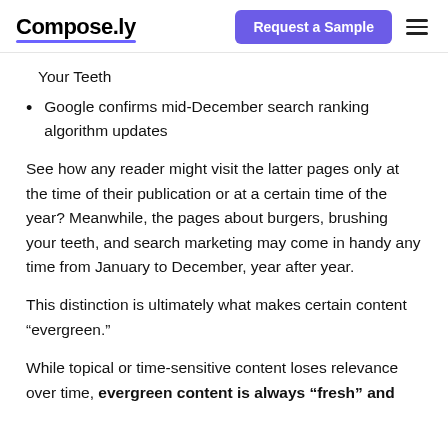Compose.ly | Request a Sample
Your Teeth
Google confirms mid-December search ranking algorithm updates
See how any reader might visit the latter pages only at the time of their publication or at a certain time of the year? Meanwhile, the pages about burgers, brushing your teeth, and search marketing may come in handy any time from January to December, year after year.
This distinction is ultimately what makes certain content “evergreen.”
While topical or time-sensitive content loses relevance over time, evergreen content is always “fresh” and